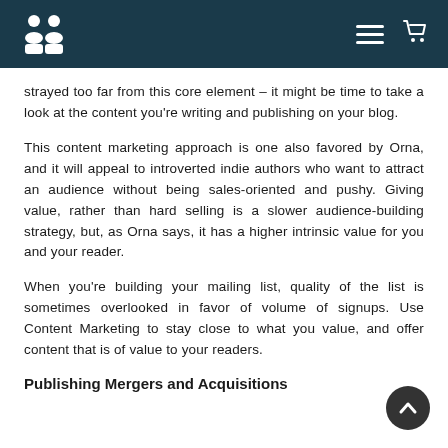[Logo] [Menu] [Cart]
strayed too far from this core element – it might be time to take a look at the content you're writing and publishing on your blog.
This content marketing approach is one also favored by Orna, and it will appeal to introverted indie authors who want to attract an audience without being sales-oriented and pushy. Giving value, rather than hard selling is a slower audience-building strategy, but, as Orna says, it has a higher intrinsic value for you and your reader.
When you're building your mailing list, quality of the list is sometimes overlooked in favor of volume of signups. Use Content Marketing to stay close to what you value, and offer content that is of value to your readers.
Publishing Mergers and Acquisitions